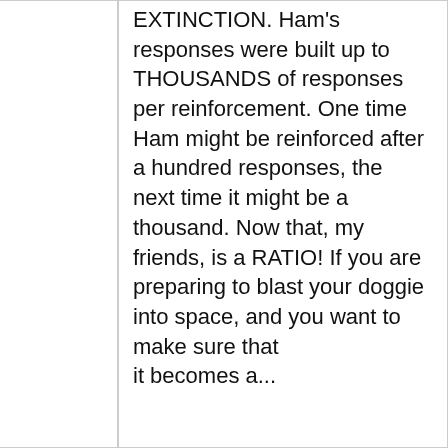EXTINCTION. Ham's responses were built up to THOUSANDS of responses per reinforcement. One time Ham might be reinforced after a hundred responses, the next time it might be a thousand. Now that, my friends, is a RATIO! If you are preparing to blast your doggie into space, and you want to make sure that it becomes a...